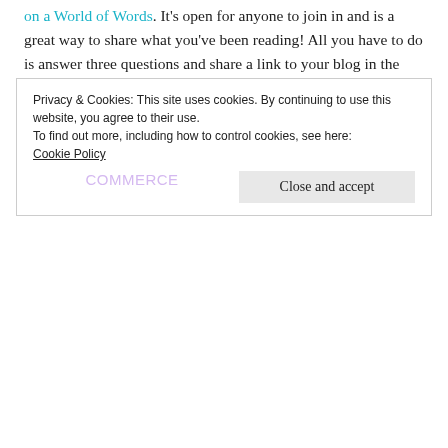on a World of Words. It's open for anyone to join in and is a great way to share what you've been reading! All you have to do is answer three questions and share a link to your blog in the comments section of Sam's blog.
The three Ws are:
[Figure (other): WooCommerce advertisement banner: purple left panel with WooCommerce logo and green triangle, right panel with text 'How to start selling subscriptions online' and teal circle graphic]
Privacy & Cookies: This site uses cookies. By continuing to use this website, you agree to their use.
To find out more, including how to control cookies, see here: Cookie Policy